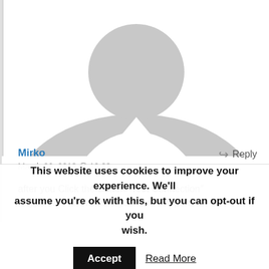[Figure (illustration): Generic grey silhouette avatar of a person (head and shoulders) on a white background, partially cropped at the bottom]
Mirko
Reply
March 26, 2013 @ 19:23
after you Click the Button “Test Connection” retype the Password, if you dont retype the
This website uses cookies to improve your experience. We’ll assume you’re ok with this, but you can opt-out if you wish.
Accept
Read More